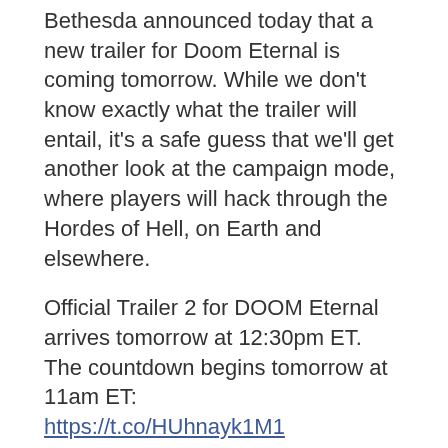Bethesda announced today that a new trailer for Doom Eternal is coming tomorrow. While we don't know exactly what the trailer will entail, it's a safe guess that we'll get another look at the campaign mode, where players will hack through the Hordes of Hell, on Earth and elsewhere.
Official Trailer 2 for DOOM Eternal arrives tomorrow at 12:30pm ET.
The countdown begins tomorrow at 11am ET:
https://t.co/HUhnayk1M1
pic.twitter.com/G7z6NOKWgOOfficial Trailer 2 for DOOM Eternal arrives tomorrow at 12:30pm ET.
The countdown begins tomorrow at 11am ET:
See more
The new trailer is coming at 12:30 p.m. ET. You can